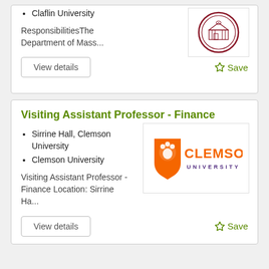Claflin University
ResponsibilitiesThe Department of Mass...
[Figure (logo): Claflin University circular seal logo in red/maroon]
View details
Save
Visiting Assistant Professor - Finance
Sirrine Hall, Clemson University
Clemson University
Visiting Assistant Professor - Finance Location: Sirrine Ha...
[Figure (logo): Clemson University logo with orange tiger paw shield and orange CLEMSON text with blue UNIVERSITY text]
View details
Save